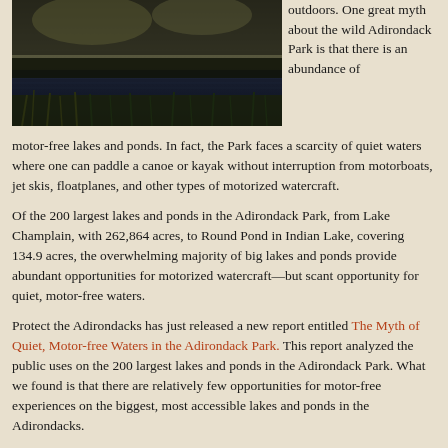[Figure (photo): A dark nature/water scene photograph showing a reflective lake or pond surrounded by trees and grass, with dim lighting suggesting dusk or dawn.]
outdoors. One great myth about the wild Adirondack Park is that there is an abundance of motor-free lakes and ponds. In fact, the Park faces a scarcity of quiet waters where one can paddle a canoe or kayak without interruption from motorboats, jet skis, floatplanes, and other types of motorized watercraft.
Of the 200 largest lakes and ponds in the Adirondack Park, from Lake Champlain, with 262,864 acres, to Round Pond in Indian Lake, covering 134.9 acres, the overwhelming majority of big lakes and ponds provide abundant opportunities for motorized watercraft—but scant opportunity for quiet, motor-free waters.
Protect the Adirondacks has just released a new report entitled The Myth of Quiet, Motor-free Waters in the Adirondack Park. This report analyzed the public uses on the 200 largest lakes and ponds in the Adirondack Park. What we found is that there are relatively few opportunities for motor-free experiences on the biggest, most accessible lakes and ponds in the Adirondacks.
Protect the Adirondacks believes that the largest lakes in the Adirondack Park provide the most accessible opportunities for public water-based recreation. But the supply of motor-free experiences on these waterbodies is low when compared to the abundance of opportunities for motorized watercraft. There needs to be greater equity for motor-free waters recreation so that the Adirondack Park can better meet the public's demand for a qui...